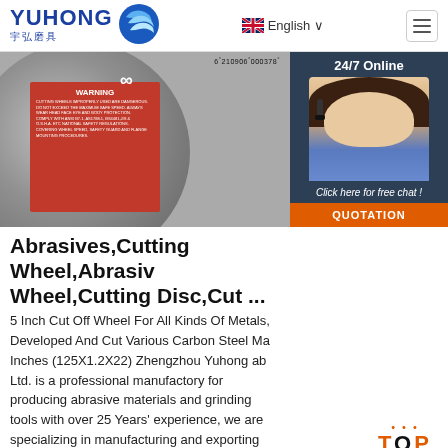YUHONG 宇弘磨具 | English | Navigation
[Figure (photo): Cutting wheel/abrasive disc product image with WARNING label, and 24/7 Online chat agent photo overlay on the right]
Abrasives,Cutting Wheel,Abrasiv Wheel,Cutting Disc,Cut ...
5 Inch Cut Off Wheel For All Kinds Of Metals, Developed And Cut Various Carbon Steel Ma Inches (125X1.2X22) Zhengzhou Yuhong ab Ltd. is a professional manufactory for producing abrasive materials and grinding tools with over 25 Years' experience, we are specializing in manufacturing and exporting brown aluminum ...
[Figure (other): Click here for free chat! button and QUOTATION orange button in dark blue panel]
[Figure (other): TOP button with orange dots decoration]
Get Price